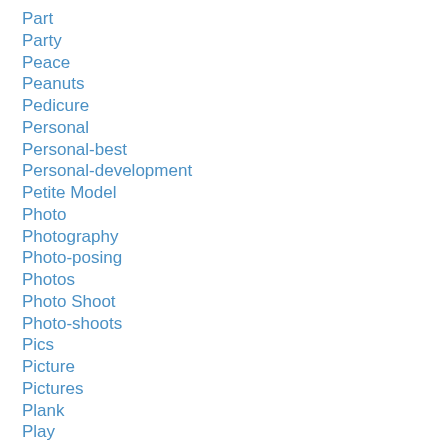Part
Party
Peace
Peanuts
Pedicure
Personal
Personal-best
Personal-development
Petite Model
Photo
Photography
Photo-posing
Photos
Photo Shoot
Photo-shoots
Pics
Picture
Pictures
Plank
Play